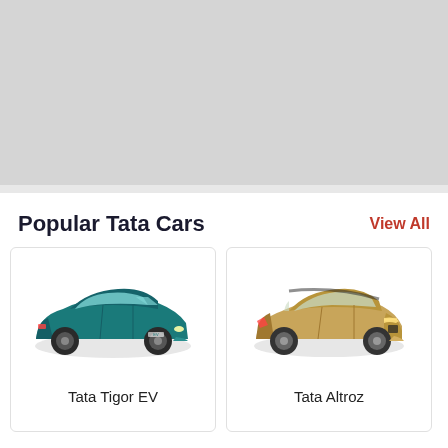[Figure (other): Light gray banner/placeholder area at top of page]
Popular Tata Cars
View All
[Figure (photo): Tata Tigor EV car image - teal/dark blue sedan electric vehicle]
Tata Tigor EV
[Figure (photo): Tata Altroz car image - gold/champagne colored hatchback]
Tata Altroz